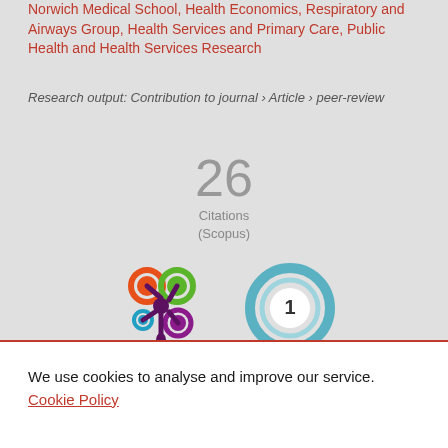Norwich Medical School, Health Economics, Respiratory and Airways Group, Health Services and Primary Care, Public Health and Health Services Research
Research output: Contribution to journal › Article › peer-review
26 Citations (Scopus)
[Figure (logo): Altmetric donut-style logo with coloured circles (orange, green, teal, purple) in a splat pattern]
[Figure (donut-chart): Teal donut badge showing number 1]
We use cookies to analyse and improve our service. Cookie Policy